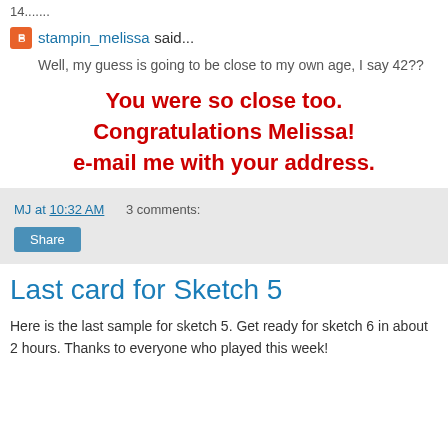14.......
stampin_melissa said...
Well, my guess is going to be close to my own age, I say 42??
You were so close too. Congratulations Melissa!
e-mail me with your address.
MJ at 10:32 AM    3 comments:
Share
Last card for Sketch 5
Here is the last sample for sketch 5. Get ready for sketch 6 in about 2 hours. Thanks to everyone who played this week!